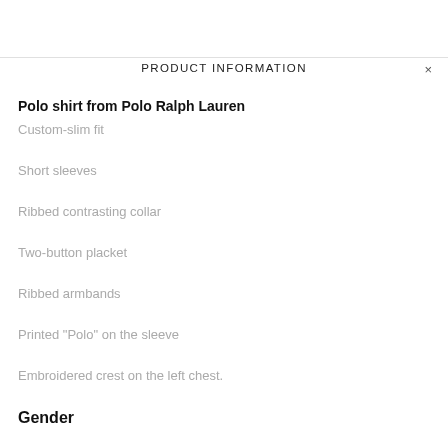PRODUCT INFORMATION
Polo shirt from Polo Ralph Lauren
Custom-slim fit
Short sleeves
Ribbed contrasting collar
Two-button placket
Ribbed armbands
Printed "Polo" on the sleeve
Embroidered crest on the left chest.
Gender